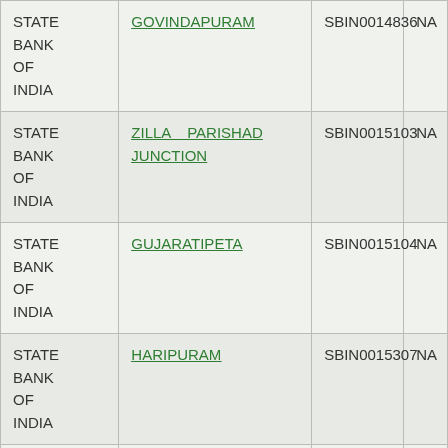| Bank | Branch | IFSC | MICR |
| --- | --- | --- | --- |
| STATE BANK OF INDIA | GOVINDAPURAM | SBIN0014836 | NA |
| STATE BANK OF INDIA | ZILLA PARISHAD JUNCTION | SBIN0015103 | NA |
| STATE BANK OF INDIA | GUJARATIPETA | SBIN0015104 | NA |
| STATE BANK OF INDIA | HARIPURAM | SBIN0015307 | NA |